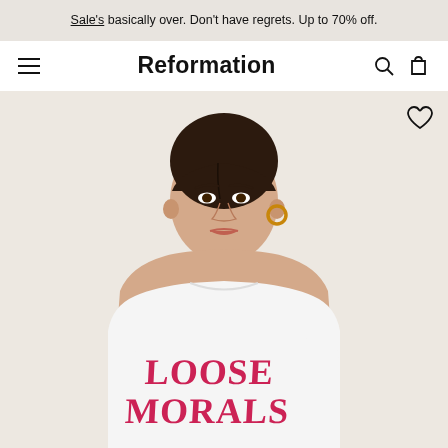Sale's basically over. Don't have regrets. Up to 70% off.
Reformation
[Figure (photo): A model wearing a white fitted baby tee with 'LOOSE MORALS' printed in bold red serif lettering on the chest. The model has dark hair pulled back, gold hoop earrings, and is photographed against a beige/cream background. A heart/wishlist icon appears in the upper right corner of the product image.]